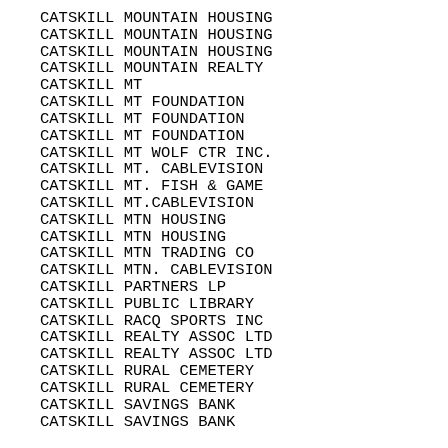CATSKILL MOUNTAIN HOUSING
CATSKILL MOUNTAIN HOUSING
CATSKILL MOUNTAIN HOUSING
CATSKILL MOUNTAIN REALTY
CATSKILL MT
CATSKILL MT FOUNDATION
CATSKILL MT FOUNDATION
CATSKILL MT FOUNDATION
CATSKILL MT WOLF CTR INC.
CATSKILL MT. CABLEVISION
CATSKILL MT. FISH & GAME
CATSKILL MT.CABLEVISION
CATSKILL MTN HOUSING
CATSKILL MTN HOUSING
CATSKILL MTN TRADING CO
CATSKILL MTN. CABLEVISION
CATSKILL PARTNERS LP
CATSKILL PUBLIC LIBRARY
CATSKILL RACQ SPORTS INC
CATSKILL REALTY ASSOC LTD
CATSKILL REALTY ASSOC LTD
CATSKILL RURAL CEMETERY
CATSKILL RURAL CEMETERY
CATSKILL SAVINGS BANK
CATSKILL SAVINGS BANK